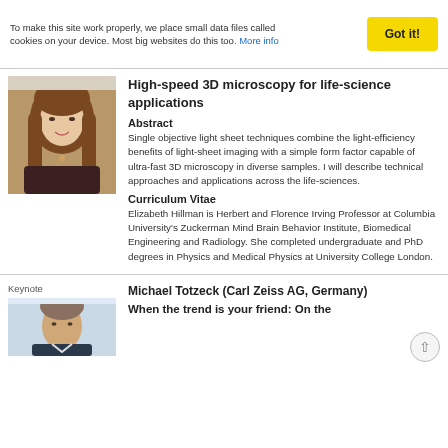To make this site work properly, we place small data files called cookies on your device. Most big websites do this too. More info
Got it!
[Figure (photo): Headshot of a woman with long brown hair]
High-speed 3D microscopy for life-science applications
Abstract
Single objective light sheet techniques combine the light-efficiency benefits of light-sheet imaging with a simple form factor capable of ultra-fast 3D microscopy in diverse samples. I will describe technical approaches and applications across the life-sciences.
Curriculum Vitae
Elizabeth Hillman is Herbert and Florence Irving Professor at Columbia University's Zuckerman Mind Brain Behavior Institute, Biomedical Engineering and Radiology. She completed undergraduate and PhD degrees in Physics and Medical Physics at University College London.
Keynote
[Figure (photo): Headshot of a man, partial view]
Michael Totzeck (Carl Zeiss AG, Germany)
When the trend is your friend: On the